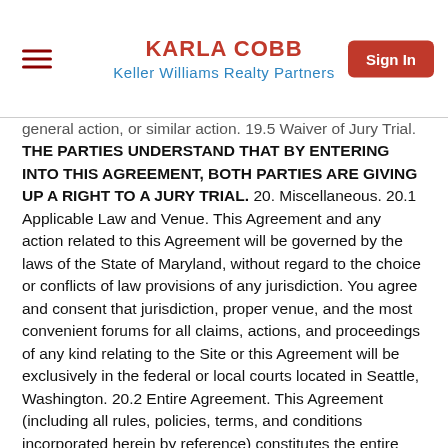KARLA COBB
Keller Williams Realty Partners
general action, or similar action. 19.5 Waiver of Jury Trial. THE PARTIES UNDERSTAND THAT BY ENTERING INTO THIS AGREEMENT, BOTH PARTIES ARE GIVING UP A RIGHT TO A JURY TRIAL. 20. Miscellaneous. 20.1 Applicable Law and Venue. This Agreement and any action related to this Agreement will be governed by the laws of the State of Maryland, without regard to the choice or conflicts of law provisions of any jurisdiction. You agree and consent that jurisdiction, proper venue, and the most convenient forums for all claims, actions, and proceedings of any kind relating to the Site or this Agreement will be exclusively in the federal or local courts located in Seattle, Washington. 20.2 Entire Agreement. This Agreement (including all rules, policies, terms, and conditions incorporated herein by reference) constitutes the entire agreement between you and us relating to the subject matter hereof, and supersedes any and all prior agreements, negotiations, or other communications between you and us, whether oral or